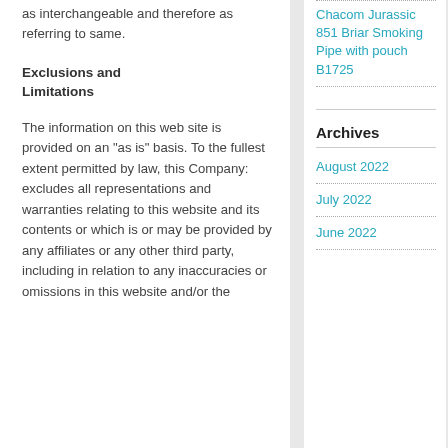as interchangeable and therefore as referring to same.
Exclusions and Limitations
The information on this web site is provided on an “as is” basis. To the fullest extent permitted by law, this Company: excludes all representations and warranties relating to this website and its contents or which is or may be provided by any affiliates or any other third party, including in relation to any inaccuracies or omissions in this website and/or the
Chacom Jurassic 851 Briar Smoking Pipe with pouch B1725
Archives
August 2022
July 2022
June 2022